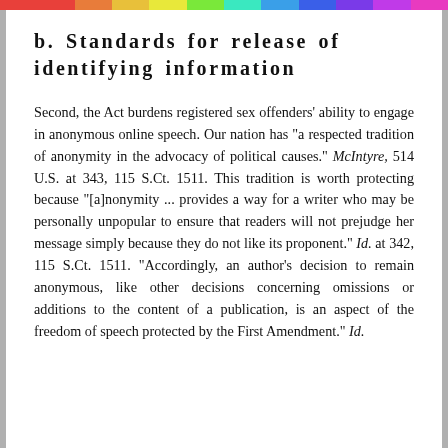b. Standards for release of identifying information
Second, the Act burdens registered sex offenders' ability to engage in anonymous online speech. Our nation has "a respected tradition of anonymity in the advocacy of political causes." McIntyre, 514 U.S. at 343, 115 S.Ct. 1511. This tradition is worth protecting because "[a]nonymity ... provides a way for a writer who may be personally unpopular to ensure that readers will not prejudge her message simply because they do not like its proponent." Id. at 342, 115 S.Ct. 1511. "Accordingly, an author's decision to remain anonymous, like other decisions concerning omissions or additions to the content of a publication, is an aspect of the freedom of speech protected by the First Amendment." Id.